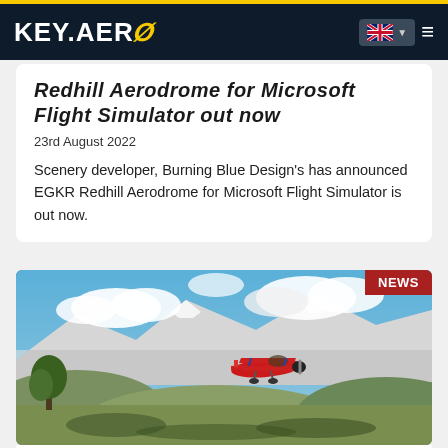KEY.AERO
Redhill Aerodrome for Microsoft Flight Simulator out now
23rd August 2022
Scenery developer, Burning Blue Design's has announced EGKR Redhill Aerodrome for Microsoft Flight Simulator is out now.
[Figure (photo): Flight simulator screenshot showing a red biplane flying low over a snow-capped mountain landscape with blue sky and clouds. A NEWS badge is shown in the top right corner of the image.]